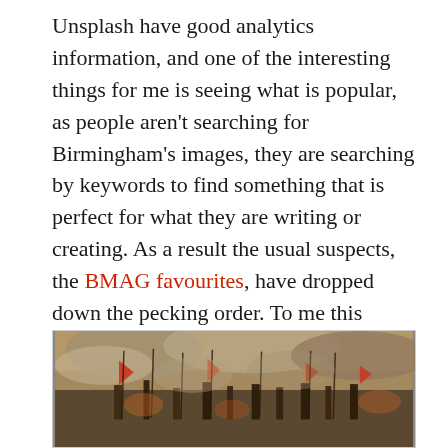Unsplash have good analytics information, and one of the interesting things for me is seeing what is popular, as people aren't searching for Birmingham's images, they are searching by keywords to find something that is perfect for what they are writing or creating. As a result the usual suspects, the BMAG favourites, have dropped down the pecking order. To me this shows how important it is to get keywording right for museums, it isn't enough to rely on Title, Artist, etc – we need to think more like a supplier of stock images if we want people to find our images.
[Figure (photo): A painting depicting a dramatic battle scene with figures, flags, and atmospheric smoky sky in warm ochre and red tones.]